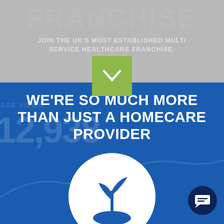FRANCHISE
JOIN THE UK'S MOST ESTABLISHED MULTI SERVICE HEALTHCARE FRANCHISE.
[Figure (illustration): Green square button with white downward chevron/check mark icon]
WE'RE SO MUCH MORE THAN JUST A HOMECARE PROVIDER
[Figure (illustration): Watermark showing 'PAGE VIEWS' label and number 12,938 with a line chart curve in the background]
[Figure (illustration): White circle containing a dark blue sprouting plant/seedling icon on a blue background]
[Figure (illustration): Dark navy circular chat/message button in bottom right corner]